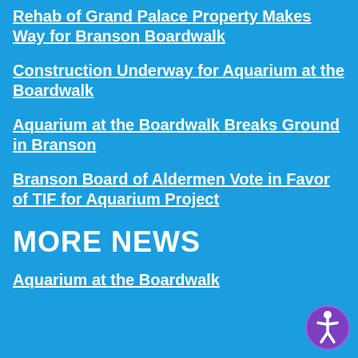Rehab of Grand Palace Property Makes Way for Branson Boardwalk
Construction Underway for Aquarium at the Boardwalk
Aquarium at the Boardwalk Breaks Ground in Branson
Branson Board of Aldermen Vote in Favor of TIF for Aquarium Project
MORE NEWS
Aquarium at the Boardwalk
[Figure (illustration): Accessibility icon — white person figure in a circle with purple border]